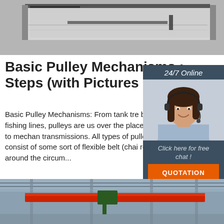[Figure (photo): Close-up photo of industrial metal panel or sheet metal with dark strips/brackets on a concrete or grey surface]
Basic Pulley Mechanisms : Steps (with Pictures ...)
Basic Pulley Mechanisms: From tank tre bike gears to fishing lines, pulleys are us over the place when it comes to mechan transmissions. All types of pulley mecha consist of some sort of flexible belt (chai rope, etc.) turning around the circum...
[Figure (photo): Customer service representative, woman with headset smiling, on dark blue/grey background with 24/7 Online label and Click here for free chat and QUOTATION button]
[Figure (photo): Industrial warehouse interior with red overhead crane beam and structural steel framework ceiling]
Get Price
24/7 Online
Click here for free chat !
QUOTATION